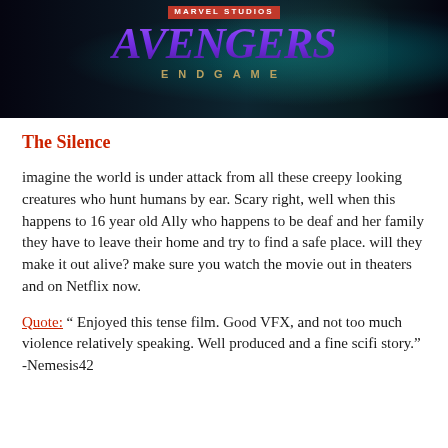[Figure (photo): Avengers: Endgame movie banner with Marvel Studios logo and purple/teal dramatic background with a character silhouette]
The Silence
imagine the world is under attack from all these creepy looking creatures who hunt humans by ear. Scary right, well when this happens to 16 year old Ally who happens to be deaf and her family they have to leave their home and try to find a safe place. will they make it out alive? make sure you watch the movie out in theaters and on Netflix now.
Quote: " Enjoyed this tense film. Good VFX, and not too much violence relatively speaking. Well produced and a fine scifi story." -Nemesis42